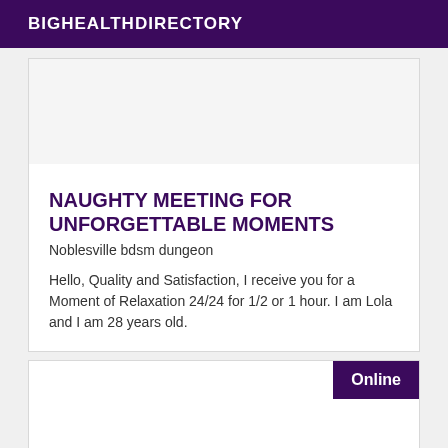BIGHEALTHDIRECTORY
NAUGHTY MEETING FOR UNFORGETTABLE MOMENTS
Noblesville bdsm dungeon
Hello, Quality and Satisfaction, I receive you for a Moment of Relaxation 24/24 for 1/2 or 1 hour. I am Lola and I am 28 years old.
Online